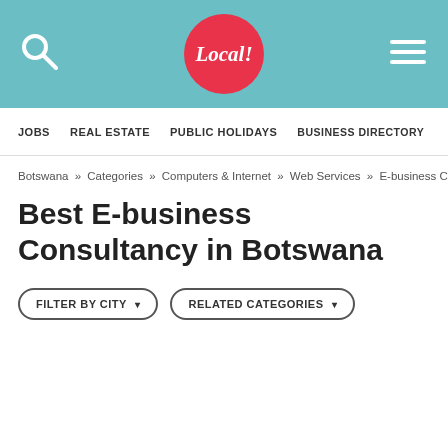Local! — navigation header with search and menu icons
JOBS   REAL ESTATE   PUBLIC HOLIDAYS   BUSINESS DIRECTORY
Botswana » Categories » Computers & Internet » Web Services » E-business C
Best E-business Consultancy in Botswana
FILTER BY CITY ▾   RELATED CATEGORIES ▾